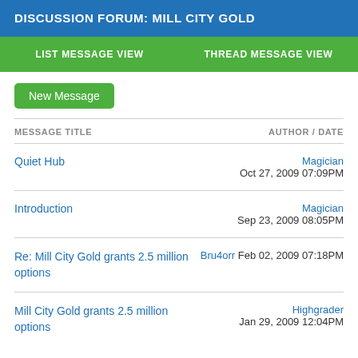DISCUSSION FORUM: MILL CITY GOLD
LIST MESSAGE VIEW   THREAD MESSAGE VIEW
New Message
| MESSAGE TITLE | AUTHOR/DATE |
| --- | --- |
| Quiet Hub | Magician
Oct 27, 2009 07:09PM |
| Introduction | Magician
Sep 23, 2009 08:05PM |
| Re: Mill City Gold grants 2.5 million options | Bru4orr Feb 02, 2009 07:18PM |
| Mill City Gold grants 2.5 million options | Highgrader
Jan 29, 2009 12:04PM |